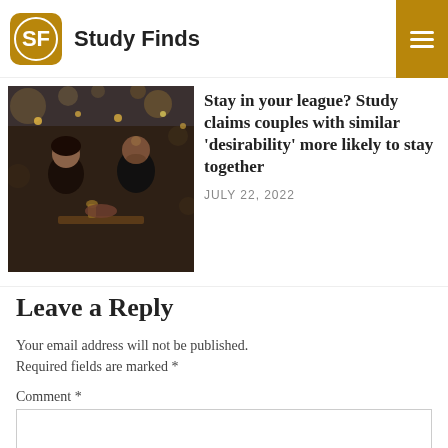Study Finds
[Figure (photo): A couple on a date in a warmly lit restaurant, holding hands across the table with bokeh lights in the background.]
Stay in your league? Study claims couples with similar 'desirability' more likely to stay together
JULY 22, 2022
Leave a Reply
Your email address will not be published. Required fields are marked *
Comment *